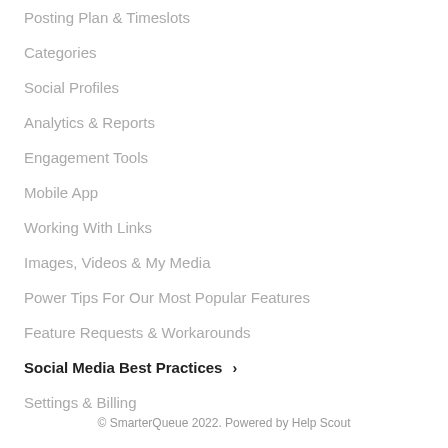Posting Plan & Timeslots
Categories
Social Profiles
Analytics & Reports
Engagement Tools
Mobile App
Working With Links
Images, Videos & My Media
Power Tips For Our Most Popular Features
Feature Requests & Workarounds
Social Media Best Practices
Settings & Billing
© SmarterQueue 2022. Powered by Help Scout